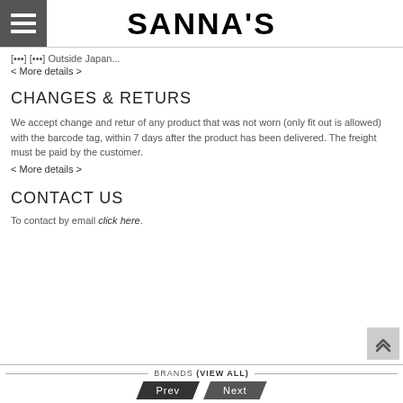SANNA'S
[...] [...] Outside Japan...
< More details >
CHANGES & RETURS
We accept change and retur of any product that was not worn (only fit out is allowed) with the barcode tag, within 7 days after the product has been delivered. The freight must be paid by the customer.
< More details >
CONTACT US
To contact by email click here.
BRANDS (VIEW ALL)  Prev  Next